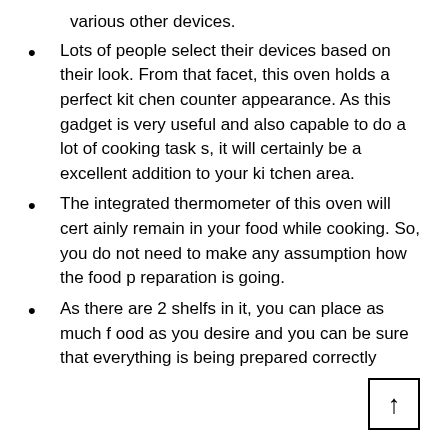various other devices.
Lots of people select their devices based on their look. From that facet, this oven holds a perfect kitchen counter appearance. As this gadget is very useful and also capable to do a lot of cooking tasks, it will certainly be a excellent addition to your kitchen area.
The integrated thermometer of this oven will certainly remain in your food while cooking. So, you do not need to make any assumption how the food preparation is going.
As there are 2 shelfs in it, you can place as much food as you desire and you can be sure that everything is being prepared correctly